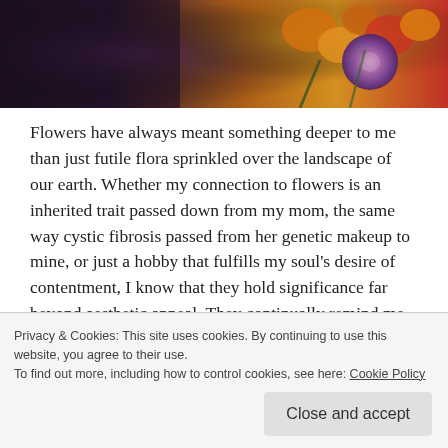[Figure (photo): Cropped photo of a person holding colorful flowers including orange, yellow, and red blooms with a purple floral accent, dark moody background]
Flowers have always meant something deeper to me than just futile flora sprinkled over the landscape of our earth. Whether my connection to flowers is an inherited trait passed down from my mom, the same way cystic fibrosis passed from her genetic makeup to mine, or just a hobby that fulfills my soul's desire of contentment, I know that they hold significance far beyond aesthetic appeal. They continually remind me of the incandescent beauty gifted from our Lord, the oxygen dancing within the breeze, and the immense control it takes to be present and grounded
Privacy & Cookies: This site uses cookies. By continuing to use this website, you agree to their use.
To find out more, including how to control cookies, see here: Cookie Policy